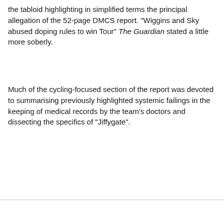the tabloid highlighting in simplified terms the principal allegation of the 52-page DMCS report. "Wiggins and Sky abused doping rules to win Tour" The Guardian stated a little more soberly.
Much of the cycling-focused section of the report was devoted to summarising previously highlighted systemic failings in the keeping of medical records by the team's doctors and dissecting the specifics of "Jiffygate".